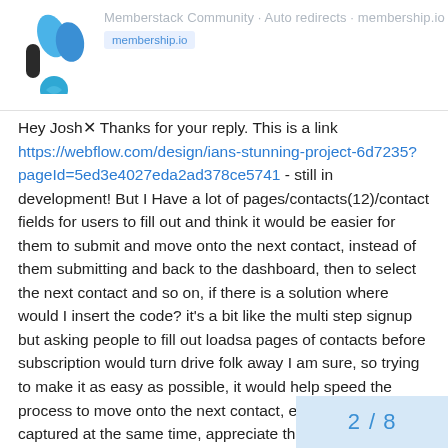Memberstack Community | Auto redirects | membership.io
[Figure (logo): Memberstack logo — stylized M with blue wave shapes and a dark pill shape]
Hey Josh✕ Thanks for your reply. This is a link https://webflow.com/design/ians-stunning-project-6d7235?pageId=5ed3e4027eda2ad378ce5741 - still in development! But I Have a lot of pages/contacts(12)/contact fields for users to fill out and think it would be easier for them to submit and move onto the next contact, instead of them submitting and back to the dashboard, then to select the next contact and so on, if there is a solution where would I insert the code? it’s a bit like the multi step signup but asking people to fill out loadsa pages of contacts before subscription would turn drive folk away I am sure, so trying to make it as easy as possible, it would help speed the process to move onto the next contact, ensuring the data is captured at the same time, appreciate the help/guidance, best, ian
2 / 8